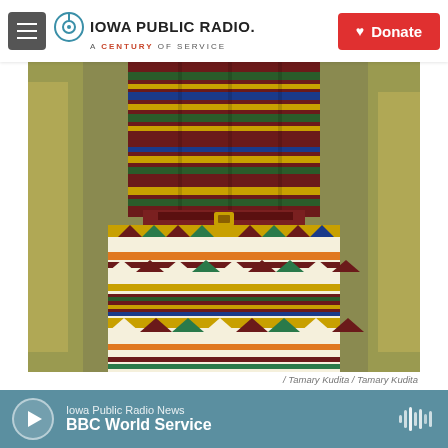Iowa Public Radio. A Century of Service | Donate
[Figure (photo): Person wearing colorful kente-pattern dress standing outdoors among dry grasses and yellow foliage]
/ Tamary Kudita / Tamary Kudita
Body As An Archive. Zimbabwean artist Tamary Kudita designed unique
Iowa Public Radio News | BBC World Service